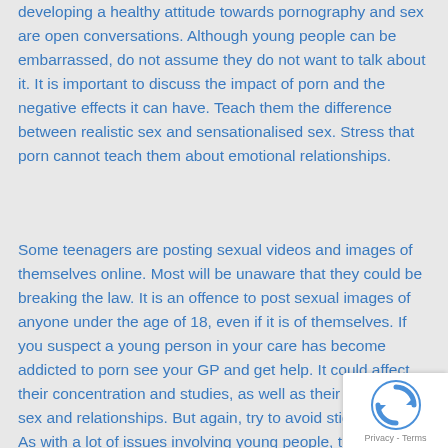developing a healthy attitude towards pornography and sex are open conversations. Although young people can be embarrassed, do not assume they do not want to talk about it. It is important to discuss the impact of porn and the negative effects it can have. Teach them the difference between realistic sex and sensationalised sex. Stress that porn cannot teach them about emotional relationships.
Some teenagers are posting sexual videos and images of themselves online. Most will be unaware that they could be breaking the law. It is an offence to post sexual images of anyone under the age of 18, even if it is of themselves. If you suspect a young person in your care has become addicted to porn see your GP and get help. It could affect their concentration and studies, as well as their views on sex and relationships. But again, try to avoid stigmatising. As with a lot of issues involving young people, the most important thing is to not overreact and to be calm and considerate.
[Figure (other): reCAPTCHA badge with rotating arrows logo and Privacy - Terms text]